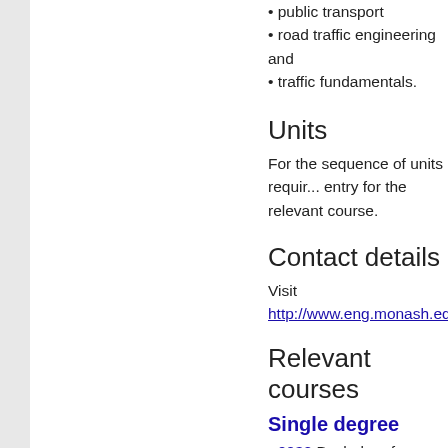public transport
road traffic engineering and
traffic fundamentals.
Units
For the sequence of units requir... entry for the relevant course.
Contact details
Visit http://www.eng.monash.edu
Relevant courses
Single degree
0032 Bachelor of Engineeri
Double degrees
0116 Bachelor of Engineeri
0548 Bachelor of Commerc
0094 Bachelor of Engineeri
0085 Bachelor of Engineeri
Progression to further